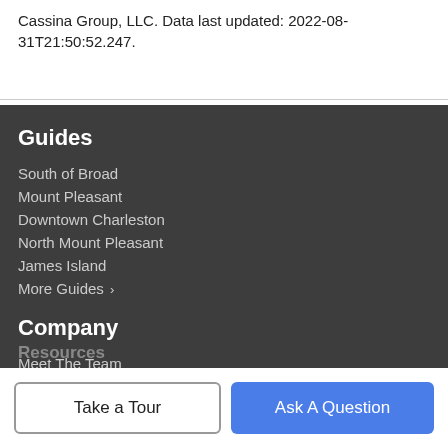Cassina Group, LLC. Data last updated: 2022-08-31T21:50:52.247.
Guides
South of Broad
Mount Pleasant
Downtown Charleston
North Mount Pleasant
James Island
More Guides ›
Company
Meet The Team
Our Blog
Resources
Take a Tour
Ask A Question